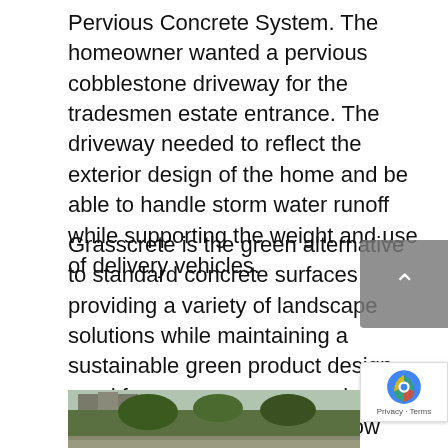Pervious Concrete System. The homeowner wanted a pervious cobblestone driveway for the tradesmen estate entrance. The driveway needed to reflect the exterior design of the home and be able to handle storm water runoff while supporting the weight and use of delivery vehicles.
Grasscrete is the green alternative to standard concrete surfaces providing a variety of landscape solutions while maintaining a sustainable green product design used for emergency access lanes, delivery access routes, overflow parking areas, and for intermittent drainage channels that help prevent erosion.
[Figure (photo): Partial view of a photo at the bottom of the page showing what appears to be a driveway or landscape installation with greenery and a building in the background.]